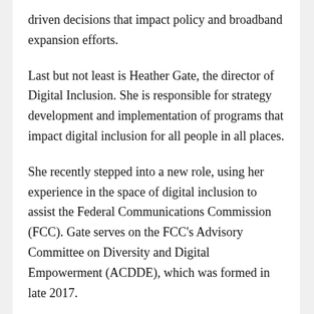driven decisions that impact policy and broadband expansion efforts.
Last but not least is Heather Gate, the director of Digital Inclusion. She is responsible for strategy development and implementation of programs that impact digital inclusion for all people in all places.
She recently stepped into a new role, using her experience in the space of digital inclusion to assist the Federal Communications Commission (FCC). Gate serves on the FCC's Advisory Committee on Diversity and Digital Empowerment (ACDDE), which was formed in late 2017.